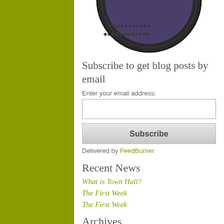[Figure (logo): Circular badge/tire logo with text 'EXPLORE EM' visible at the top portion, dark purple/black tire tread design]
Subscribe to get blog posts by email
Enter your email address:
Subscribe
Delivered by FeedBurner
Recent News
What is Town Hall?
The First Week
The First Week
Archives
2019 (2)
2018 (2)